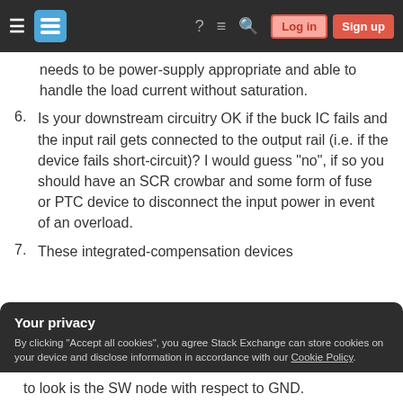Stack Exchange navigation bar with hamburger menu, logo, help, chat, search icons, Log in and Sign up buttons
needs to be power-supply appropriate and able to handle the load current without saturation.
6. Is your downstream circuitry OK if the buck IC fails and the input rail gets connected to the output rail (i.e. if the device fails short-circuit)? I would guess "no", if so you should have an SCR crowbar and some form of fuse or PTC device to disconnect the input power in event of an overload.
7. These integrated-compensation devices
Your privacy
By clicking "Accept all cookies", you agree Stack Exchange can store cookies on your device and disclose information in accordance with our Cookie Policy.
Accept all cookies   Customize settings
to look is the SW node with respect to GND.